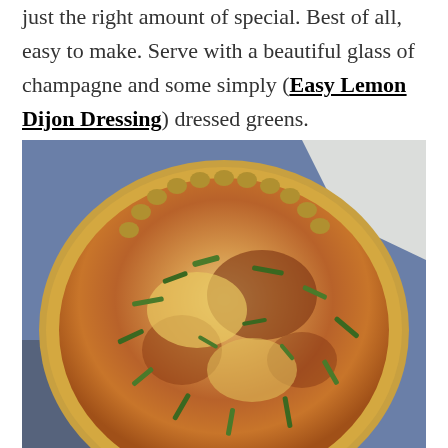just the right amount of special. Best of all, easy to make. Serve with a beautiful glass of champagne and some simply (Easy Lemon Dijon Dressing) dressed greens.
[Figure (photo): A baked quiche in a fluted pastry crust with asparagus pieces and browned cheese topping, placed on a blue surface with a white napkin in the background.]